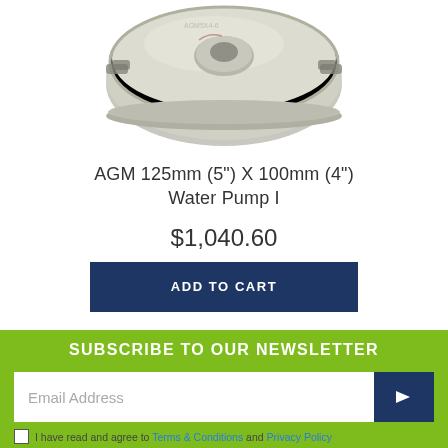[Figure (photo): A metallic centrifugal pump impeller viewed from above, showing a disc-shaped steel/aluminum component with curved vanes and a central hub opening.]
AGM 125mm (5") X 100mm (4") Water Pump I
$1,040.60
ADD TO CART
SUBSCRIBE TO OUR NEWSLETTER
Email Address
I have read and agree to Terms & Conditions and Privacy Policy